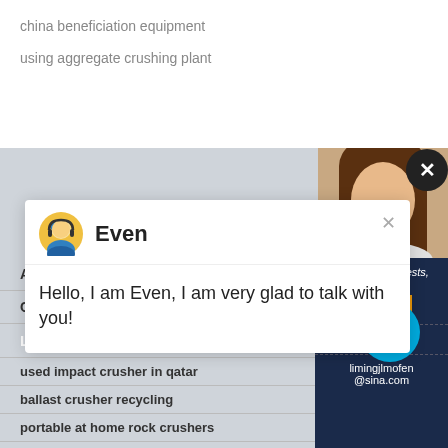china beneficiation equipment
using aggregate crushing plant
[Figure (photo): Woman's photo visible in top-right of mid-gray section, partially cropped]
[Figure (infographic): Black circular close button with X symbol]
Even
Hello, I am Even, I am very glad to talk with you!
About
Contact Us
Latest News
used impact crusher in qatar
ballast crusher recycling
portable at home rock crushers
indonesia stone and rock crusher
Have any requests, click here
Quote
1
Enquiry
limingjlmofen@sina.com